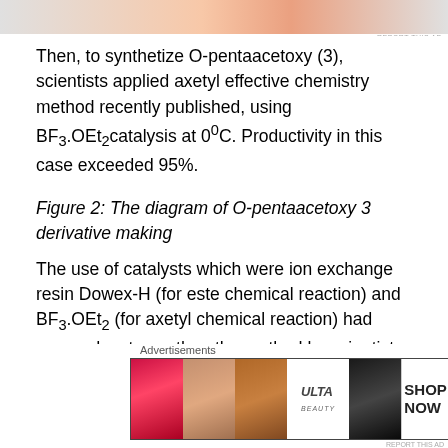[Figure (photo): Advertisement banner at top of page showing a cosmetic/beauty product with gradient pink and peach tones, with 'REPORT THIS AD' label.]
Then, to synthetize O-pentaacetoxy (3), scientists applied axetyl effective chemistry method recently published, using BF3.OEt2 catalysis at 0°C. Productivity in this case exceeded 95%.
Figure 2: The diagram of O-pentaacetoxy 3 derivative making
The use of catalysts which were ion exchange resin Dowex-H (for este chemical reaction) and BF3.OEt2 (for axetyl chemical reaction) had more advantages than the method by scientists from Glaxo.
[Figure (photo): Advertisements banner at the bottom showing an Ulta Beauty cosmetics advertisement with images of lips, makeup brush, eyes, Ulta logo, and a 'SHOP NOW' button.]